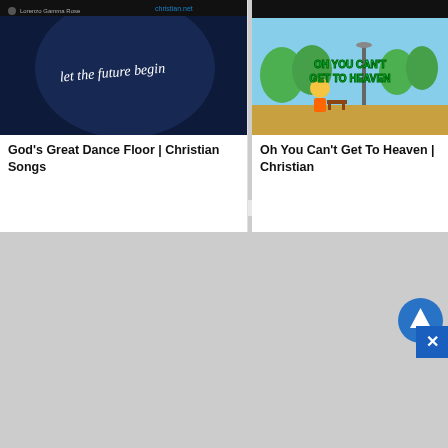[Figure (screenshot): Thumbnail image for Father Abraham Christian Kids Songs card - light blue cartoon image partially visible at top]
Father Abraham | Christian Kids Songs (2020)
CHRISTIAN SONGS
[Figure (screenshot): Thumbnail image for At The Cross Christian Songs For Kids - partial image of person visible at top]
At The Cross | Christian Songs For Kids
CHRISTIAN SONGS
[Figure (screenshot): Video thumbnail for God's Great Dance Floor - dark blue background with woman and text 'let the future begin', Christian.net logo visible]
God's Great Dance Floor | Christian Songs
[Figure (screenshot): Video thumbnail for Oh You Can't Get To Heaven - animated cartoon with child on skateboard, colorful text 'OH YOU CAN'T GET TO HEAVEN']
Oh You Can't Get To Heaven | Christian